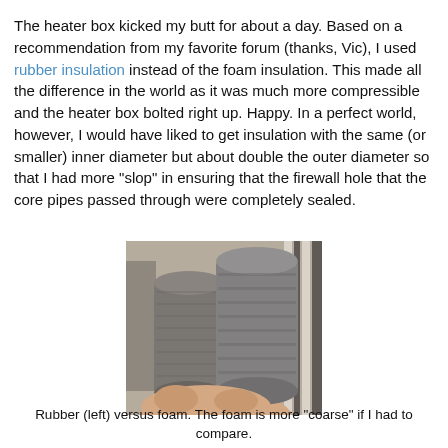The heater box kicked my butt for about a day. Based on a recommendation from my favorite forum (thanks, Vic), I used rubber insulation instead of the foam insulation. This made all the difference in the world as it was much more compressible and the heater box bolted right up. Happy. In a perfect world, however, I would have liked to get insulation with the same (or smaller) inner diameter but about double the outer diameter so that I had more "slop" in ensuring that the firewall hole that the core pipes passed through were completely sealed.
[Figure (photo): Photo of two cylindrical rubber/foam pipe insulation pieces being held in a hand side by side — rubber on the left (smaller diameter, finer texture) and foam on the right (larger diameter, coarser texture).]
Rubber (left) versus foam. The foam is more "coarse" if I had to compare.